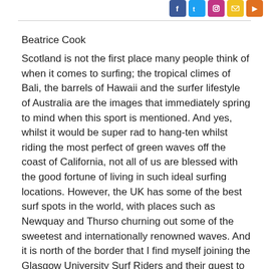[Social media icons: Facebook, Twitter, Instagram, Email, Orange]
Beatrice Cook
Scotland is not the first place many people think of when it comes to surfing; the tropical climes of Bali, the barrels of Hawaii and the surfer lifestyle of Australia are the images that immediately spring to mind when this sport is mentioned. And yes, whilst it would be super rad to hang-ten whilst riding the most perfect of green waves off the coast of California, not all of us are blessed with the good fortune of living in such ideal surfing locations. However, the UK has some of the best surf spots in the world, with places such as Newquay and Thurso churning out some of the sweetest and internationally renowned waves. And it is north of the border that I find myself joining the Glasgow University Surf Riders and their quest to bring 'the stoke' to Scotland.